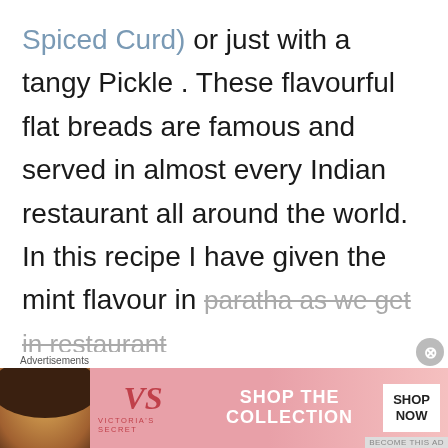Spiced Curd) or just with a tangy Pickle . These flavourful flat breads are famous and served in almost every Indian restaurant all around the world. In this recipe I have given the mint flavour in paratha as we get in restaurant
Advertisements
[Figure (screenshot): Victoria's Secret advertisement banner with a woman's photo on the left, VS logo in the center-left, 'SHOP THE COLLECTION' text, and a white 'SHOP NOW' button on the right]